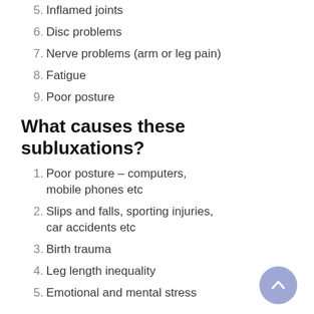5. Inflamed joints
6. Disc problems
7. Nerve problems (arm or leg pain)
8. Fatigue
9. Poor posture
What causes these subluxations?
1. Poor posture – computers, mobile phones etc
2. Slips and falls, sporting injuries, car accidents etc
3. Birth trauma
4. Leg length inequality
5. Emotional and mental stress